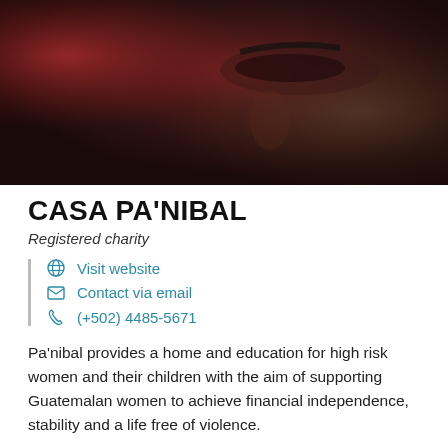[Figure (photo): Close-up blurred photograph of a person's face with dark reddish and brown tones, occupying the top portion of the page]
CASA PA'NIBAL
Registered charity
Visit website
Contact via email
(+502) 4485-5671
Pa'nibal provides a home and education for high risk women and their children with the aim of supporting Guatemalan women to achieve financial independence, stability and a life free of violence.